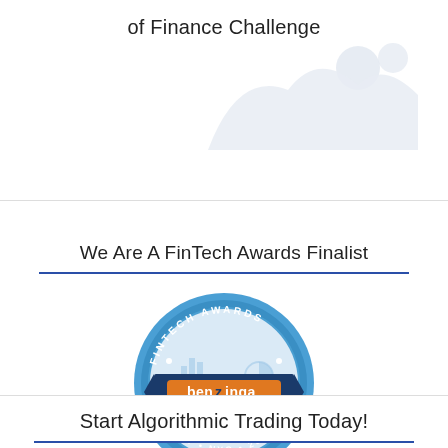of Finance Challenge
[Figure (illustration): Abstract cloud/mountain shape decorative graphic in light gray/blue tones in the upper right area]
We Are A FinTech Awards Finalist
[Figure (logo): Benzinga FinTech Awards Finalist NYC 2016 circular badge/seal in blue with orange accent]
Start Algorithmic Trading Today!